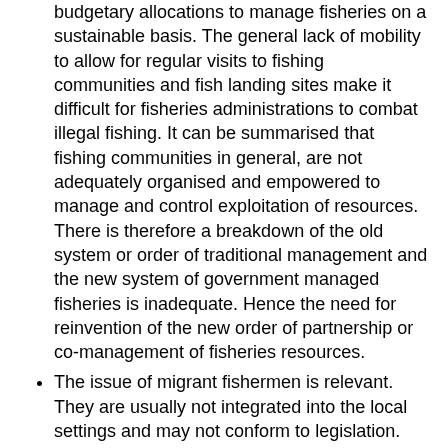budgetary allocations to manage fisheries on a sustainable basis. The general lack of mobility to allow for regular visits to fishing communities and fish landing sites make it difficult for fisheries administrations to combat illegal fishing. It can be summarised that fishing communities in general, are not adequately organised and empowered to manage and control exploitation of resources. There is therefore a breakdown of the old system or order of traditional management and the new system of government managed fisheries is inadequate. Hence the need for reinvention of the new order of partnership or co-management of fisheries resources.
The issue of migrant fishermen is relevant. They are usually not integrated into the local settings and may not conform to legislation. Migrant fishermen are often more technologically advanced than the fishers in the host countries and they use more sophisticated fishing gears, methods and techniques some of which are highly destructive. When in host countries, most migrant fishermen (in Africa) are guests of the community or village heads to whom they are most generous and are thus protected even when they flout regulations;
Ineffective fisheries extension services and the … accountability to … the wider …